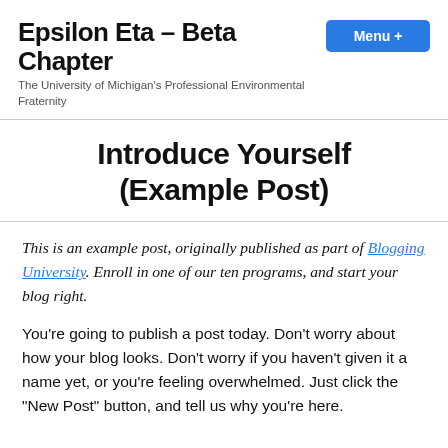Epsilon Eta – Beta Chapter | Menu +
The University of Michigan's Professional Environmental Fraternity
Introduce Yourself (Example Post)
This is an example post, originally published as part of Blogging University. Enroll in one of our ten programs, and start your blog right.
You're going to publish a post today. Don't worry about how your blog looks. Don't worry if you haven't given it a name yet, or you're feeling overwhelmed. Just click the "New Post" button, and tell us why you're here.